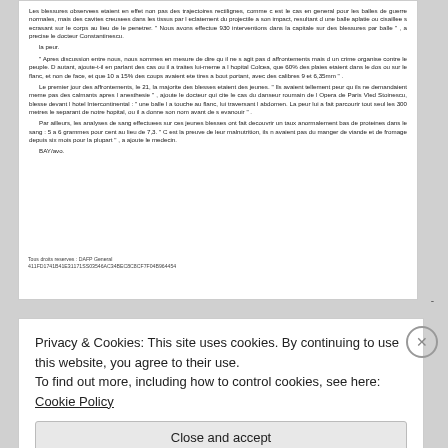Les blessures observees etaient en effet non pas des trajectoires rectilignes, comme c est le cas en general pour les balles de guerre normales, mais des cavites creusees dans les tissus par l eclatement du projectile a son impact, resultant d une balle aplatie ou cisaillee s ecrasant sur le corps au lieu de le penetrer. " Nous avons effectue 930 interventions dans la capitale sur des blessures par balle " , a precise le docteur Constantinescu.
   la peur.
   " Apres discussion entre nous, nous sommes en mesure de dire qu il ne s agit pas d affrontements mais d un crime organise contre le peuple. D autant, ajoute-t-il en parlant des cas ou il a traites lui-meme a l hopital Colcea, que 60% des plaies etaient dans le dos ou sur le flanc, et non de face, et que 10 a 15% des coups avaient ete tires a bout portant, avec des calibres 9 et 6,35mm " .
   Le premier jour des affrontements, le 21, la majorite des blesses etaient des jeunes. " Ils avaient tellement peur qu ils ne demandaient meme pas des calmants apres l anesthesie " , ajoute le docteur qui cite le cas du danseur roumain de l Opera de Paris Vled Stoinescu, blesse devant l hotel Intercontinental : " une balle l a touche au flanc, lui traversant l abdomen. La peur lui a fait parcourir tout seul les 300 metres le separant de notre hopital, ou il a donne son nom avant de s evanouir " .
   Par ailleurs, les analyses de sang effectuees sur ces jeunes blesses ont fait decouvrir un taux anormalement bas de proteines dans le sang : 5 a 6 grammes pour cent au lieu de 7,3. " C est la preuve de leur malnutrition, ils n avaient pas du manger de viande et de fromage depuis six mois pour la plupart " , a ajoute le medecin.
   BAY/avo.
Tous droits reserves : DAFP General
411FD1741B41E31171SS03546AC34BEC8C8CF7F04B964454
Privacy & Cookies: This site uses cookies. By continuing to use this website, you agree to their use.
To find out more, including how to control cookies, see here: Cookie Policy
Close and accept